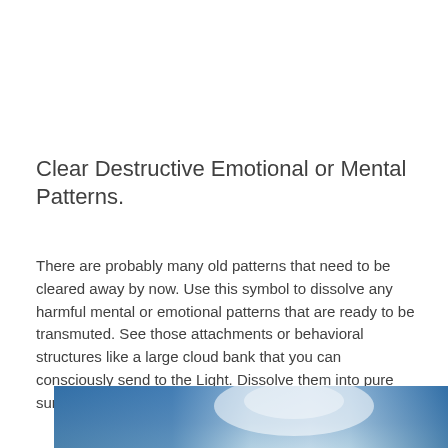Clear Destructive Emotional or Mental Patterns.
There are probably many old patterns that need to be cleared away by now. Use this symbol to dissolve any harmful mental or emotional patterns that are ready to be transmuted. See those attachments or behavioral structures like a large cloud bank that you can consciously send to the Light. Dissolve them into pure sunlight – the darkness all gone.
[Figure (photo): A partial view of a sky image showing blue sky with white light, cropped at the bottom of the page.]